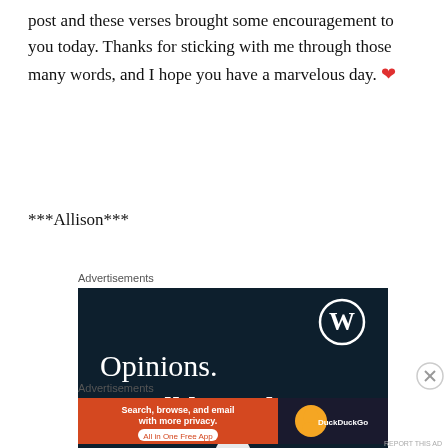post and these verses brought some encouragement to you today. Thanks for sticking with me through those many words, and I hope you have a marvelous day. ❤
***Allison***
Advertisements
[Figure (screenshot): WordPress advertisement with dark navy background showing WordPress logo (W in circle) at top right, text 'Opinions. We all have them!' in large white serif font]
[Figure (illustration): Close button (X in circle)]
Advertisements
[Figure (screenshot): DuckDuckGo advertisement: orange section with text 'Search, browse, and email with more privacy. All in One Free App' and dark section with DuckDuckGo duck logo and name]
REPORT THIS AD